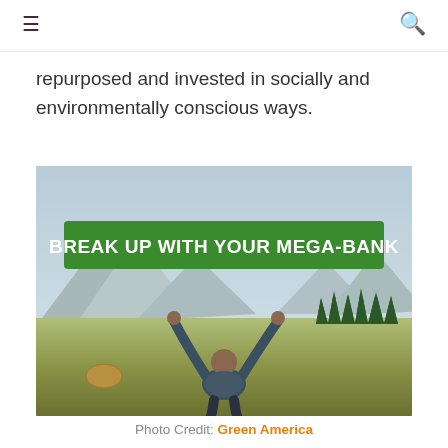≡  🔍
repurposed and invested in socially and environmentally conscious ways.
[Figure (photo): Person with arms raised in celebration standing in a field, with a green banner overlay reading 'BREAK UP WITH YOUR MEGA-BANK']
Photo Credit: Green America